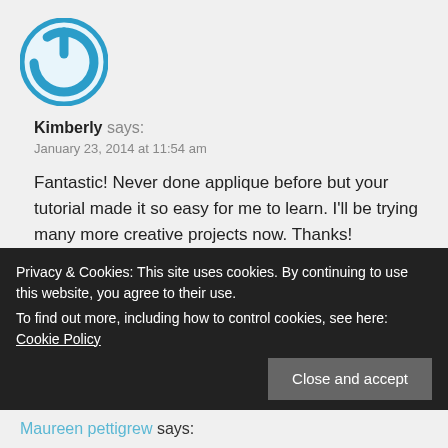[Figure (logo): Blue circular power/refresh icon avatar for user Kimberly]
Kimberly says:
January 23, 2014 at 11:54 am
Fantastic! Never done applique before but your tutorial made it so easy for me to learn. I’ll be trying many more creative projects now. Thanks!
↩ Reply
Privacy & Cookies: This site uses cookies. By continuing to use this website, you agree to their use.
To find out more, including how to control cookies, see here: Cookie Policy
Close and accept
Maureen pettigrew says: